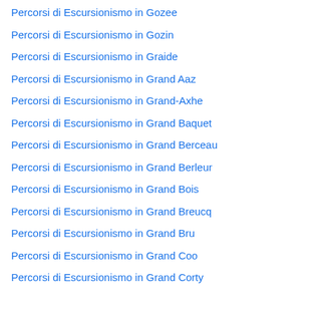Percorsi di Escursionismo in Gozee
Percorsi di Escursionismo in Gozin
Percorsi di Escursionismo in Graide
Percorsi di Escursionismo in Grand Aaz
Percorsi di Escursionismo in Grand-Axhe
Percorsi di Escursionismo in Grand Baquet
Percorsi di Escursionismo in Grand Berceau
Percorsi di Escursionismo in Grand Berleur
Percorsi di Escursionismo in Grand Bois
Percorsi di Escursionismo in Grand Breucq
Percorsi di Escursionismo in Grand Bru
Percorsi di Escursionismo in Grand Coo
Percorsi di Escursionismo in Grand Corty